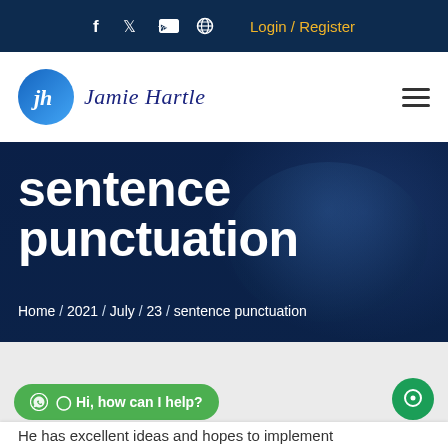f  t  [yt]  [globe]  Login / Register
[Figure (logo): Jamie Hartle logo with circular blue gradient icon and script/italic brand name text]
sentence punctuation
Home / 2021 / July / 23 / sentence punctuation
[Figure (other): Green WhatsApp-style chat widget: Hi, how can I help?]
[Figure (other): Green circular chat bubble button on right side]
He has excellent ideas and hopes to implement